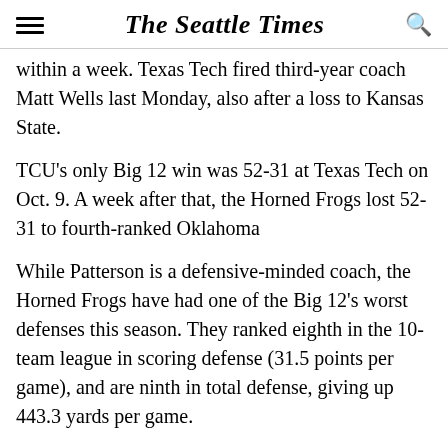The Seattle Times
within a week. Texas Tech fired third-year coach Matt Wells last Monday, also after a loss to Kansas State.
TCU's only Big 12 win was 52-31 at Texas Tech on Oct. 9. A week after that, the Horned Frogs lost 52-31 to fourth-ranked Oklahoma
While Patterson is a defensive-minded coach, the Horned Frogs have had one of the Big 12's worst defenses this season. They ranked eighth in the 10-team league in scoring defense (31.5 points per game), and are ninth in total defense, giving up 443.3 yards per game.
Patterson was TCU's defensive coordinator for three seasons on Dennis Franchione's staff. He was